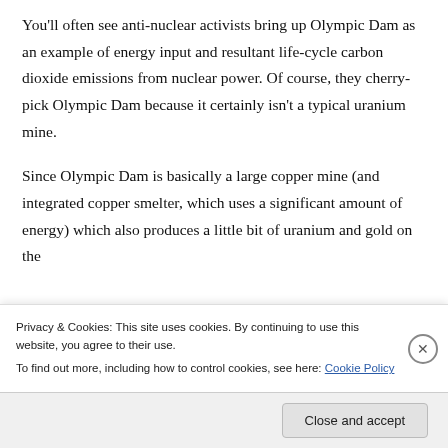You'll often see anti-nuclear activists bring up Olympic Dam as an example of energy input and resultant life-cycle carbon dioxide emissions from nuclear power. Of course, they cherry-pick Olympic Dam because it certainly isn't a typical uranium mine.
Since Olympic Dam is basically a large copper mine (and integrated copper smelter, which uses a significant amount of energy) which also produces a little bit of uranium and gold on the
Privacy & Cookies: This site uses cookies. By continuing to use this website, you agree to their use.
To find out more, including how to control cookies, see here: Cookie Policy
Close and accept